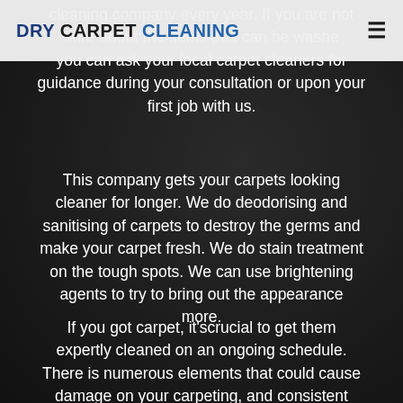DRY CARPET CLEANING
cleaning company every year. If you are not sure about the items that can be washed, you can ask your local carpet cleaners for guidance during your consultation or upon your first job with us.
This company gets your carpets looking cleaner for longer. We do deodorising and sanitising of carpets to destroy the germs and make your carpet fresh. We do stain treatment on the tough spots. We can use brightening agents to try to bring out the appearance more.
If you got carpet, it'scrucial to get them expertly cleaned on an ongoing schedule. There is numerous elements that could cause damage on your carpeting, and consistent